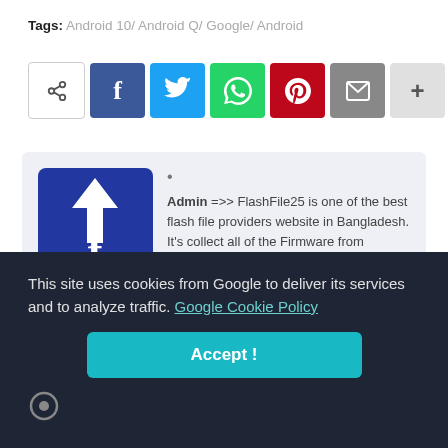Tags: Android 10/ Android Q/ Google/ Android
[Figure (other): Social share bar with icons: share, Facebook, Twitter, WhatsApp, Pinterest, Email, More (+)]
[Figure (other): Author card with FlashFile25 logo and bio: Admin =>> FlashFile25 is one of the best flash file providers website in Bangladesh. It's collect all of the Firmware from customer care and new phones. Also provided 326+ Brands]
This site uses cookies from Google to deliver its services and to analyze traffic. Google Cookie Policy
Accept !